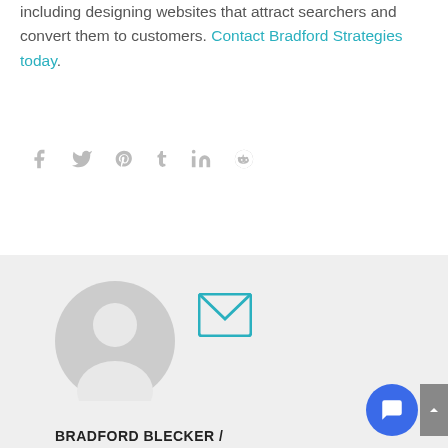including designing websites that attract searchers and convert them to customers. Contact Bradford Strategies today.
[Figure (other): Social share icons row: Facebook, Twitter, Pinterest, Tumblr, LinkedIn, Reddit]
[Figure (other): Author profile card with grey background, circular avatar placeholder, email icon, chat button, scroll-up button, and author name BRADFORD BLECKER /]